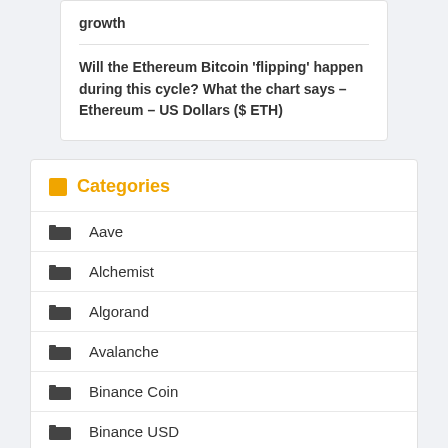growth
Will the Ethereum Bitcoin ‘flipping’ happen during this cycle? What the chart says – Ethereum – US Dollars ($ ETH)
Categories
Aave
Alchemist
Algorand
Avalanche
Binance Coin
Binance USD
Bitcoin
Bitcoin Cash